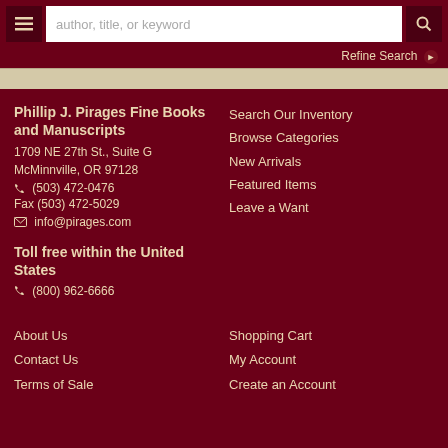author, title, or keyword [search bar]
Refine Search
Phillip J. Pirages Fine Books and Manuscripts
1709 NE 27th St., Suite G
McMinnville, OR 97128
(503) 472-0476
Fax (503) 472-5029
info@pirages.com
Search Our Inventory
Browse Categories
New Arrivals
Featured Items
Leave a Want
Toll free within the United States
(800) 962-6666
About Us
Contact Us
Terms of Sale
Shopping Cart
My Account
Create an Account